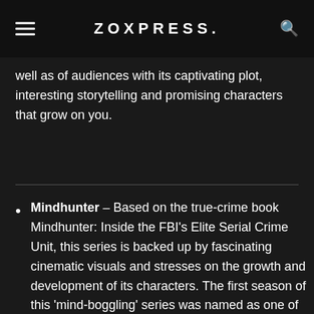ZOXPRESS.
well as of audiences with its captivating plot, interesting storytelling and promising characters that grow on you.
Mindhunter – Based on the true-crime book Mindhunter: Inside the FBI's Elite Serial Crime Unit, this series is backed up by fascinating cinematic visuals and stresses on the growth and development of its characters. The first season of this 'mind-boggling' series was named as one of the best TV shows of 2017 and it was also ranked at No. 10th position on Metacritic's year-end list of the best TV shows of 2017. It is an appealing character drama